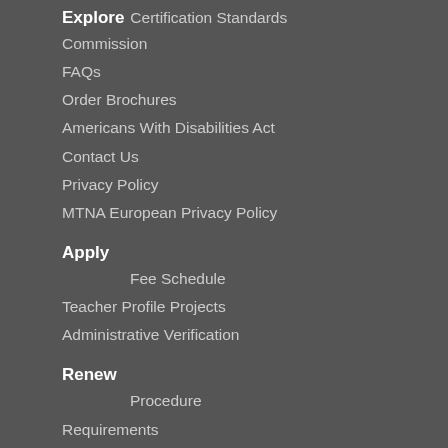Explore
Certification Standards
Commission
FAQs
Order Brochures
Americans With Disabilities Act
Contact Us
Privacy Policy
MTNA European Privacy Policy
Apply
Fee Schedule
Teacher Profile Projects
Administrative Verification
Renew
Procedure
Requirements
Renewal Activities
Fee Schedule
Renewal Forms
Resources
General Resources
Certification Handbook
PTG/PTGF Scholarships